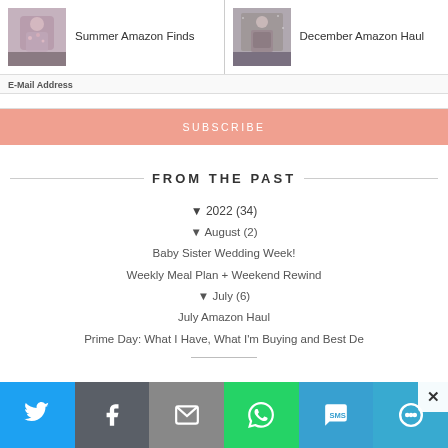[Figure (other): Related post thumbnail: Summer Amazon Finds - woman in floral outfit]
Summer Amazon Finds
[Figure (other): Related post thumbnail: December Amazon Haul - woman in winter outfit]
December Amazon Haul
E-Mail Address
SUBSCRIBE
FROM THE PAST
▼ 2022 (34)
▼ August (2)
Baby Sister Wedding Week!
Weekly Meal Plan + Weekend Rewind
▼ July (6)
July Amazon Haul
Prime Day: What I Have, What I'm Buying and Best De...